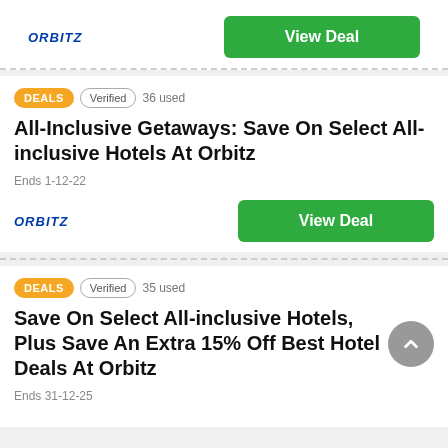[Figure (logo): Orbitz logo in italic bold blue text]
View Deal
DEALS  Verified  36 used
All-Inclusive Getaways: Save On Select All-inclusive Hotels At Orbitz
Ends 1-12-22
[Figure (logo): Orbitz logo in italic bold blue text]
View Deal
DEALS  Verified  35 used
Save On Select All-inclusive Hotels, Plus Save An Extra 15% Off Best Hotel Deals At Orbitz
Ends 31-12-25